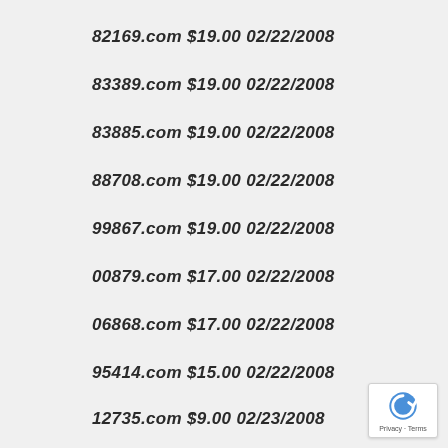82169.com $19.00 02/22/2008
83389.com $19.00 02/22/2008
83885.com $19.00 02/22/2008
88708.com $19.00 02/22/2008
99867.com $19.00 02/22/2008
00879.com $17.00 02/22/2008
06868.com $17.00 02/22/2008
95414.com $15.00 02/22/2008
12735.com $9.00 02/23/2008